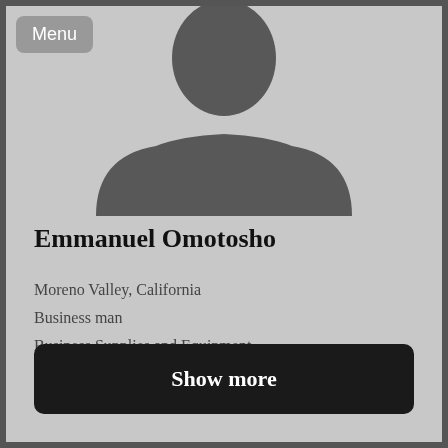[Figure (illustration): Generic silhouette placeholder avatar showing head and shoulders of a person, dark gray on light gray background]
Emmanuel Omotosho
Moreno Valley, California
Business man
Business Supplies and Equipment
Show more